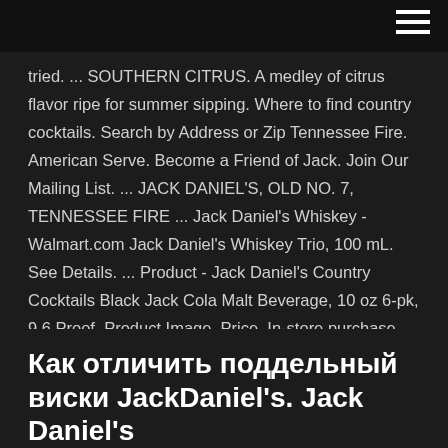tried. ... SOUTHERN CITRUS. A medley of citrus flavor ripe for summer sipping. Where to find country cocktails. Search by Address or Zip Tennessee Fire. American Serve. Become a Friend of Jack. Join Our Mailing List. ... JACK DANIEL'S, OLD NO. 7, TENNESSEE FIRE ... Jack Daniel's Whiskey - Walmart.com Jack Daniel's Whiskey Trio, 100 mL. See Details. ... Product - Jack Daniel's Country Cocktails Black Jack Cola Malt Beverage, 10 oz 6-pk, 9.6 Proof. Product Image. Price. In-store purchase only. ... Jack Daniel's Country Cocktails Berry Punch Malt Beverage, 10 oz, 9.6 Proof. See Details.
Как отличить поддельный виски JackDaniel's. Jack Daniel's